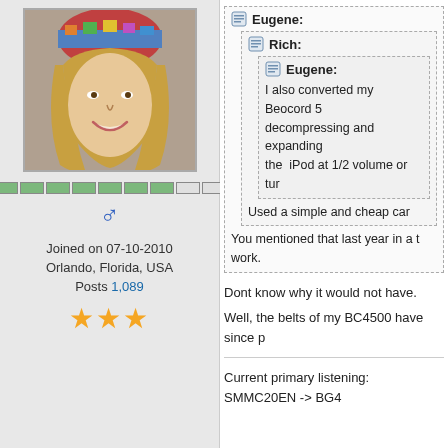[Figure (photo): Profile photo of a smiling young woman with long blonde hair wearing a colorful hat/headband]
Progress bar indicator (7 filled, 2 empty segments)
♂ (male gender icon)
Joined on 07-10-2010
Orlando, Florida, USA
Posts 1,089
★★★ (3 stars)
Eugene:
Rich:
Eugene:
I also converted my Beocord 5 decompressing and expanding the iPod at 1/2 volume or tur
Used a simple and cheap car
You mentioned that last year in a t work.
Dont know why it would not have.
Well, the belts of my BC4500 have since p
Current primary listening: SMMC20EN -> BG4